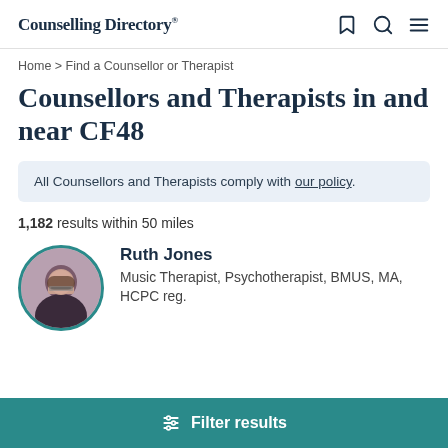Counselling Directory
Home > Find a Counsellor or Therapist
Counsellors and Therapists in and near CF48
All Counsellors and Therapists comply with our policy.
1,182 results within 50 miles
Ruth Jones
Music Therapist, Psychotherapist, BMUS, MA, HCPC reg.
Filter results